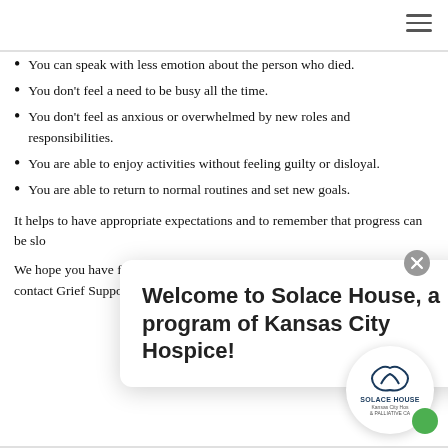You can speak with less emotion about the person who died.
You don't feel a need to be busy all the time.
You don't feel as anxious or overwhelmed by new roles and responsibilities.
You are able to enjoy activities without feeling guilty or disloyal.
You are able to return to normal routines and set new goals.
It helps to have appropriate expectations and to remember that progress can be slo...
We hope you have foun... your journey through gr... have a question, please contact Grief Support Services at 816-363-2600.
[Figure (other): Welcome to Solace House, a program of Kansas City Hospice! popup dialog with Solace House logo badge and green chat button]